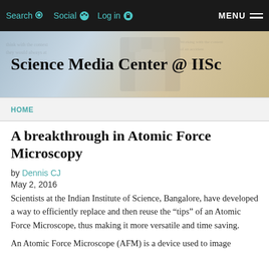Search  Social  Log in  MENU
[Figure (illustration): Science Media Center @ IISc banner with building illustration and text background]
HOME
A breakthrough in Atomic Force Microscopy
by Dennis CJ
May 2, 2016
Scientists at the Indian Institute of Science, Bangalore, have developed a way to efficiently replace and then reuse the “tips” of an Atomic Force Microscope, thus making it more versatile and time saving.
An Atomic Force Microscope (AFM) is a device used to image objects at nanometre scale, billions of finer than our...